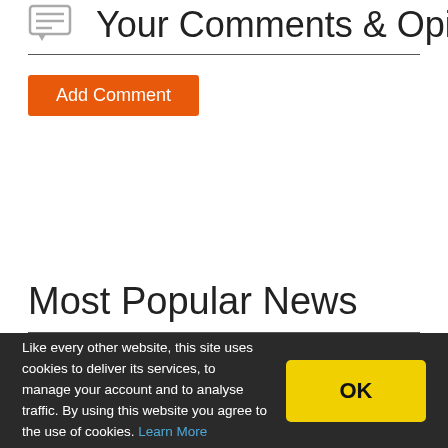Your Comments & Opinion
[Figure (illustration): Add Comment orange button]
Most Popular News
Like every other website, this site uses cookies to deliver its services, to manage your account and to analyse traffic. By using this website you agree to the use of cookies. Learn More